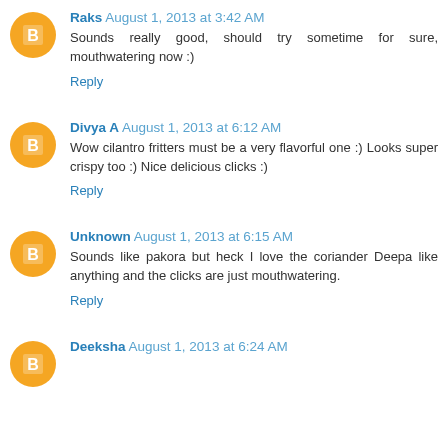Raks August 1, 2013 at 3:42 AM
Sounds really good, should try sometime for sure, mouthwatering now :)
Reply
Divya A August 1, 2013 at 6:12 AM
Wow cilantro fritters must be a very flavorful one :) Looks super crispy too :) Nice delicious clicks :)
Reply
Unknown August 1, 2013 at 6:15 AM
Sounds like pakora but heck I love the coriander Deepa like anything and the clicks are just mouthwatering.
Reply
Deeksha August 1, 2013 at 6:24 AM